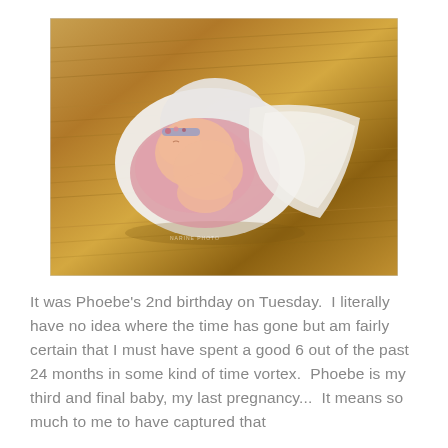[Figure (photo): Overhead view of a sleeping newborn baby girl curled up inside a white bowl/pod, wrapped in pink and white muslin cloth, wearing a small floral headband. The bowl sits on a warm brown wood-grain floor.]
It was Phoebe's 2nd birthday on Tuesday.  I literally have no idea where the time has gone but am fairly certain that I must have spent a good 6 out of the past 24 months in some kind of time vortex.  Phoebe is my third and final baby, my last pregnancy...  It means so much to me to have captured that